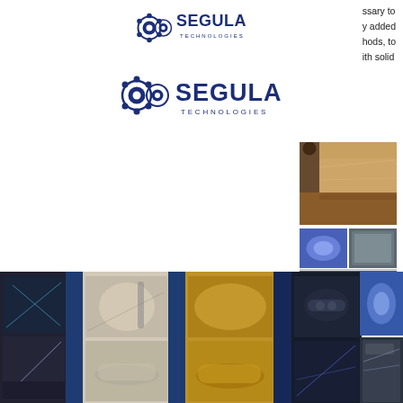[Figure (logo): Segula Technologies logo (small) - gear/circle icon with SEGULA TECHNOLOGIES text in dark blue]
ssary to
y added
hods, to
ith solid
[Figure (logo): Segula Technologies logo (large) - gear/circle icon with SEGULA TECHNOLOGIES text in dark blue]
[Figure (other): Hamburger/menu icon with three horizontal dark blue lines]
[Figure (photo): Photo of a luxury interior/vehicle design concept in warm tones (tan/brown)]
[Figure (photo): Two smaller photos on right side: top showing 3D-printed blue/purple components, bottom showing a car door panel/grille in gray]
[Figure (photo): Wide banner strip collage of engineering and design images including CAD screens, hand sketching, automotive interiors, car renders, microscopy, and 3D part models]
Our experts with long industry experiences create product ideas in collaboration with your engineers by taking advantage of your advanced material technology. On top of that, we provide consistent support for commercialization through creative design by Technicon Design, which is our design department, and through engineering by Segula Technologies. Through this initiative, we support material manufacturers with innovative material technology so that they can utilize their materials to develop innovative products and propose them to the industry.